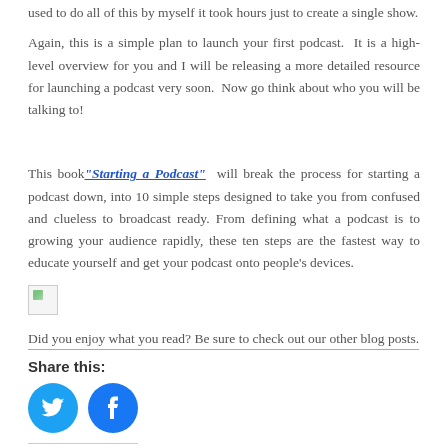used to do all of this by myself it took hours just to create a single show.
Again, this is a simple plan to launch your first podcast. It is a high-level overview for you and I will be releasing a more detailed resource for launching a podcast very soon. Now go think about who you will be talking to!
This book“Starting a Podcast” will break the process for starting a podcast down, into 10 simple steps designed to take you from confused and clueless to broadcast ready. From defining what a podcast is to growing your audience rapidly, these ten steps are the fastest way to educate yourself and get your podcast onto people’s devices.
[Figure (illustration): Broken/placeholder image icon with a small green graphic element]
Did you enjoy what you read? Be sure to check out our other blog posts.
Share this:
[Figure (other): Twitter and Facebook social share buttons as blue circular icons]
Related
What is a Swipe File
Why You Must Start A